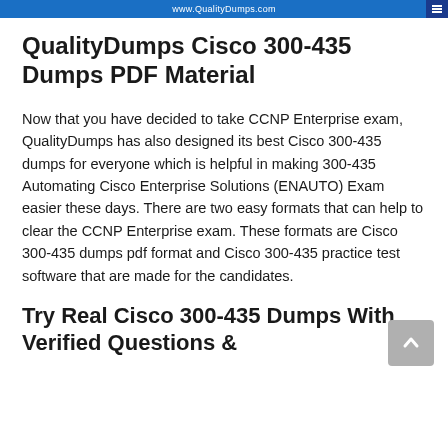www.QualityDumps.com
QualityDumps Cisco 300-435 Dumps PDF Material
Now that you have decided to take CCNP Enterprise exam, QualityDumps has also designed its best Cisco 300-435 dumps for everyone which is helpful in making 300-435 Automating Cisco Enterprise Solutions (ENAUTO) Exam easier these days. There are two easy formats that can help to clear the CCNP Enterprise exam. These formats are Cisco 300-435 dumps pdf format and Cisco 300-435 practice test software that are made for the candidates.
Try Real Cisco 300-435 Dumps With Verified Questions &